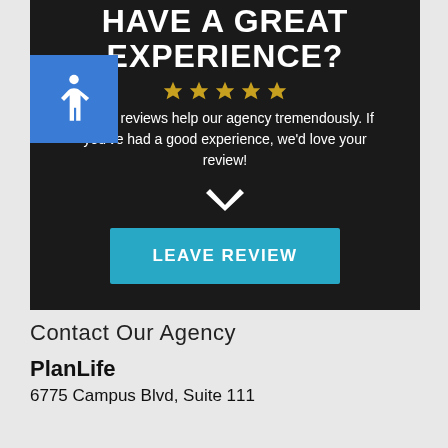HAVE A GREAT EXPERIENCE?
Online reviews help our agency tremendously. If you've had a good experience, we'd love your review!
[Figure (infographic): Dark background banner with stars, chevron down arrow, and a 'LEAVE REVIEW' teal button. Accessibility icon in blue square top-left.]
Contact Our Agency
PlanLife
6775 Campus Blvd, Suite 111